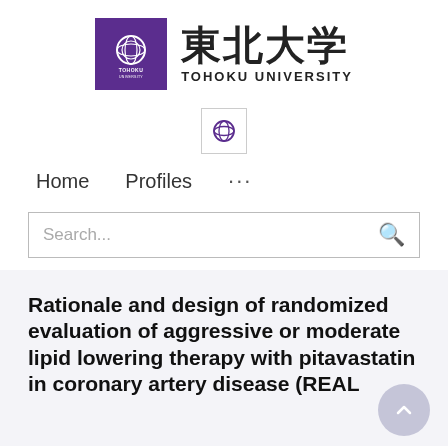[Figure (logo): Tohoku University logo: purple square with circular seal and Japanese/English text '東北大学 TOHOKU UNIVERSITY']
[Figure (other): Globe/language selector icon button]
Home   Profiles   ...
Search...
Rationale and design of randomized evaluation of aggressive or moderate lipid lowering therapy with pitavastatin in coronary artery disease (REAL